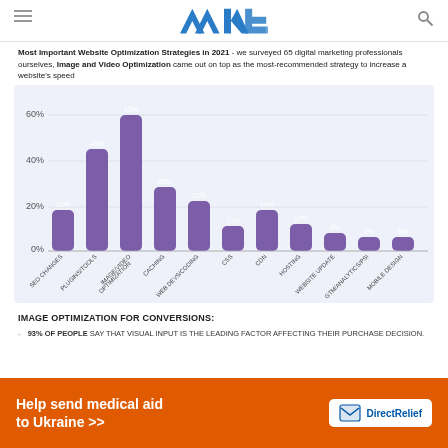MTE logo with hamburger menu and search icon
Most Important Website Optimization Strategies in 2021 - we surveyed 65 digital marketing professionals ourselves, Image and Video Optimization came out on top as the most-recommended strategy to increase a website's speed
[Figure (bar-chart): Most Important Website Optimization Strategies in 2021]
IMAGE OPTIMIZATION FOR CONVERSIONS:
93% OF PEOPLE SAY THAT VISUAL INPUT IS THE LEADING FACTOR AFFECTING THEIR PURCHASE DECISION.